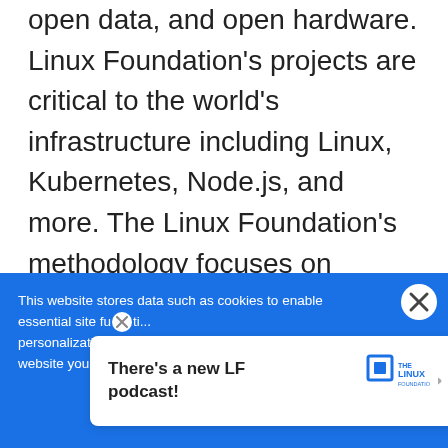open data, and open hardware. Linux Foundation's projects are critical to the world's infrastructure including Linux, Kubernetes, Node.js, and more. The Linux Foundation's methodology focuses on leveraging best practices and addressing the needs of contributors, users and solution providers to create sustainable models for open collaboration. For more information, please visit us at linuxfoundation.org.
This website stores data such as cookies to enable essential site fu... personalization, an... website you indica...
[Figure (screenshot): Popup notification bubble saying 'There's a new LF podcast!' with a Linux Foundation logo box and close buttons on a blue cookie consent banner]